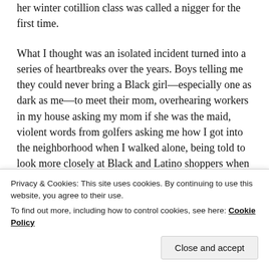her winter cotillion class was called a nigger for the first time.
What I thought was an isolated incident turned into a series of heartbreaks over the years. Boys telling me they could never bring a Black girl—especially one as dark as me—to meet their mom, overhearing workers in my house asking my mom if she was the maid, violent words from golfers asking me how I got into the neighborhood when I walked alone, being told to look more closely at Black and Latino shoppers when I was working in a clothing store, seeing the fear in my mother's eyes for my brother, being treated kindly whilst hanging out with all white friends and poorly whilst hanging out with Black or dark-skinned
Privacy & Cookies: This site uses cookies. By continuing to use this website, you agree to their use.
To find out more, including how to control cookies, see here: Cookie Policy
Close and accept